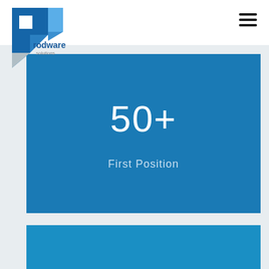[Figure (logo): Prodware Solutions logo with blue geometric P shape and text 'rodware solutions']
[Figure (infographic): Hamburger menu icon with three horizontal lines]
50+
First Position
[Figure (infographic): Second blue panel partially visible at bottom of page]